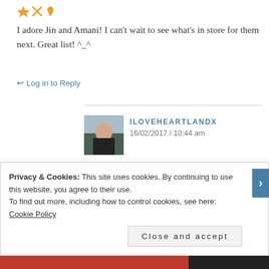[Figure (illustration): Small decorative icons: orange arrow, orange X, orange star/flame]
I adore Jin and Amani! I can't wait to see what's in store for them next. Great list! ^_^
↩ Log in to Reply
[Figure (photo): Small user avatar photo of a person standing outdoors]
ILOVEHEARTLANDX
16/02/2017 / 10:44 am
Me too! Thanks 🙂
↩ Log in to Reply
Privacy & Cookies: This site uses cookies. By continuing to use this website, you agree to their use.
To find out more, including how to control cookies, see here: Cookie Policy
Close and accept